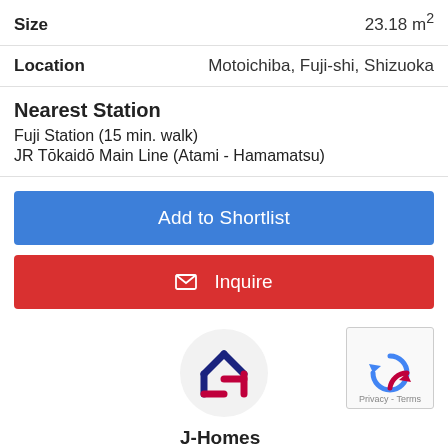Size    23.18 m²
Location    Motoichiba, Fuji-shi, Shizuoka
Nearest Station
Fuji Station (15 min. walk)
JR Tōkaidō Main Line (Atami - Hamamatsu)
Add to Shortlist
✉ Inquire
[Figure (logo): J-Homes logo: a house icon with dark blue and red/pink lines on a light grey circle]
J-Homes